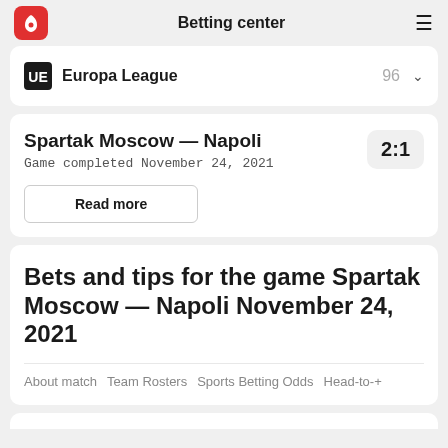Betting center
Europa League  96
Spartak Moscow — Napoli
Game completed November 24, 2021
2:1
Read more
Bets and tips for the game Spartak Moscow — Napoli November 24, 2021
About match
Team Rosters
Sports Betting Odds
Head-to-+